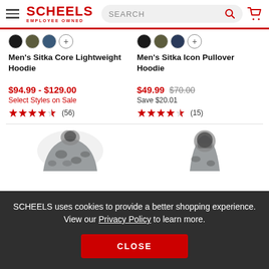SCHEELS EMPLOYEE OWNED — Search bar — Cart icon
Men's Sitka Core Lightweight Hoodie
Men's Sitka Icon Pullover Hoodie
$94.99 - $129.00
Select Styles on Sale
★★★★½ (56)
$49.99  $70.00
Save $20.01
★★★★½ (15)
[Figure (photo): Partial view of two camo hooded jackets/balaclavas at the bottom of the page]
SCHEELS uses cookies to provide a better shopping experience. View our Privacy Policy to learn more.
CLOSE